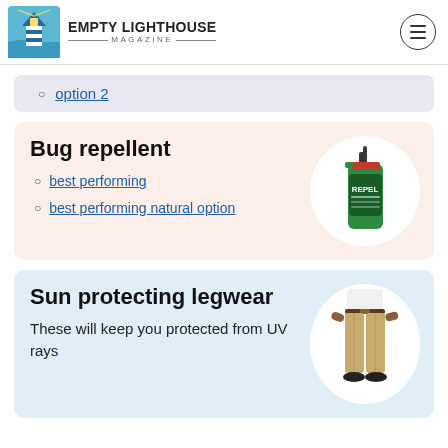EMPTY LIGHTHOUSE MAGAZINE
option 2
Bug repellent
best performing
best performing natural option
[Figure (photo): Repel bug spray bottle with green cap]
Sun protecting legwear
These will keep you protected from UV rays
[Figure (photo): Person wearing khaki sun-protecting pants]